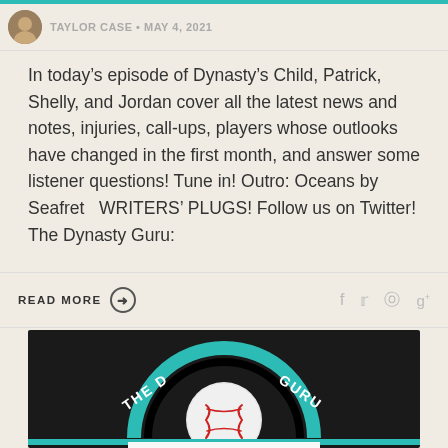TAYLOR CASE · MAY 4, 2021
In today's episode of Dynasty's Child, Patrick, Shelly, and Jordan cover all the latest news and notes, injuries, call-ups, players whose outlooks have changed in the first month, and answer some listener questions! Tune in! Outro: Oceans by Seafret   WRITERS' PLUGS! Follow us on Twitter! The Dynasty Guru:
READ MORE →
[Figure (logo): The Dynasty Guru logo on dark leather background — teal semicircle arch with baseball in center, text THE D... GURU arching around it, with teal horizontal bar below]